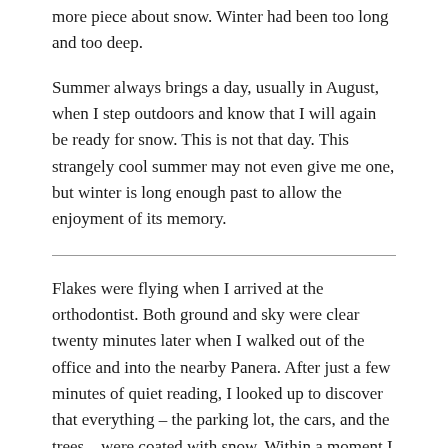more piece about snow. Winter had been too long and too deep.
Summer always brings a day, usually in August, when I step outdoors and know that I will again be ready for snow. This is not that day. This strangely cool summer may not even give me one, but winter is long enough past to allow the enjoyment of its memory.
Flakes were flying when I arrived at the orthodontist. Both ground and sky were clear twenty minutes later when I walked out of the office and into the nearby Panera. After just a few minutes of quiet reading, I looked up to discover that everything – the parking lot, the cars, and the trees – were coated with snow. Within a moment I packed and headed to my vehicle, and in the few feet between it and the restaurant found myself covered with the same slippery snow that clung to the road.